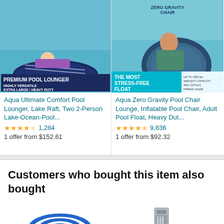[Figure (photo): Product image of Aqua Ultimate Comfort Pool Lounger showing woman reclining on dark navy inflatable pool lounger with product branding 'PREMIUM POOL LOUNGER HIGHLY VERSATILE EXTRA LARGE / HEAVY DUTY']
Aqua Ultimate Comfort Pool Lounger, Lake Raft, Two 2-Person Lake-Ocean-Pool...
4.5 stars 1,284
1 offer from $152.61
[Figure (photo): Product image of Aqua Zero Gravity Pool Chair Lounge showing man sitting in inflatable chair float with branding 'THE MOST STRESS-FREE FLOAT']
Aqua Zero Gravity Pool Chair Lounge, Inflatable Pool Chair, Adult Pool Float, Heavy Dut...
4.5 stars 9,836
1 offer from $92.32
Customers who bought this item also bought
[Figure (photo): Blue and white striped pool float or beach mat at bottom left]
[Figure (photo): Gray metal item at bottom right, partially visible]